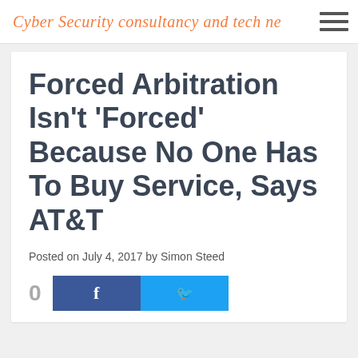Cyber Security consultancy and tech ne
Forced Arbitration Isn't 'Forced' Because No One Has To Buy Service, Says AT&T
Posted on July 4, 2017 by Simon Steed